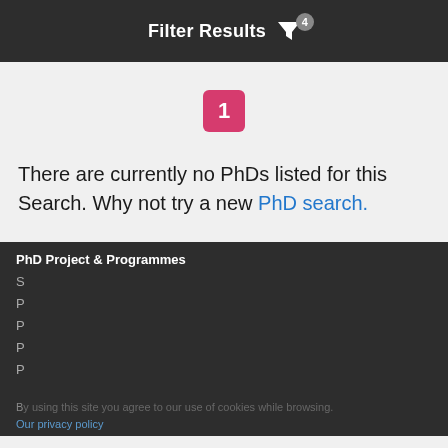Filter Results 4
1
There are currently no PhDs listed for this Search. Why not try a new PhD search.
PhD Project & Programmes
[Figure (screenshot): Popup dialog asking 'Have you got time to answer some quick questions about PhD study?' with an OK! button and 'Sorry, not right now' dismiss option]